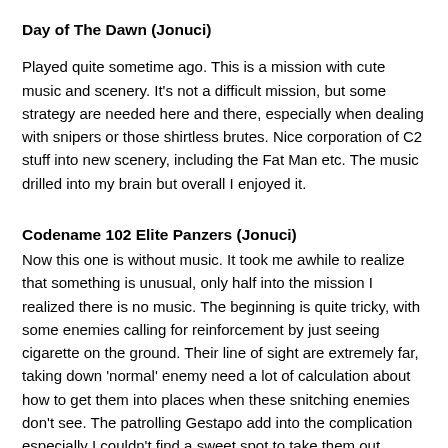Day of The Dawn (Jonuci)
Played quite sometime ago. This is a mission with cute music and scenery. It's not a difficult mission, but some strategy are needed here and there, especially when dealing with snipers or those shirtless brutes. Nice corporation of C2 stuff into new scenery, including the Fat Man etc. The music drilled into my brain but overall I enjoyed it.
Codename 102 Elite Panzers (Jonuci)
Now this one is without music. It took me awhile to realize that something is unusual, only half into the mission I realized there is no music. The beginning is quite tricky, with some enemies calling for reinforcement by just seeing cigarette on the ground. Their line of sight are extremely far, taking down 'normal' enemy need a lot of calculation about how to get them into places when these snitching enemies don't see. The patrolling Gestapo add into the complication especially I couldn't find a sweet spot to take them out without them calling alarm-alarm!  Tried multiple spots and position, but they never shut up. Taking out the four enemies on the lower right side is also quite tricky. One grenade is what I needed, but the positioning of the grenade has to be calculated, because most of the time, three of the body would be flung outside the screen, making it impossible to get rid off and cause